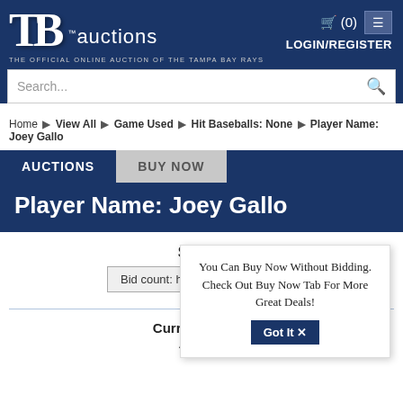[Figure (screenshot): TB Auctions logo - official online auction of the Tampa Bay Rays with TB initials in large white serif font]
LOGIN/REGISTER
Search...
Home ▶ View All ▶ Game Used ▶ Hit Baseballs: None ▶ Player Name: Joey Gallo
AUCTIONS
BUY NOW
Player Name: Joey Gallo
You Can Buy Now Without Bidding. Check Out Buy Now Tab For More Great Deals!
Got It ✕
SORT
Bid count: high → low
Current Filters:
All Items